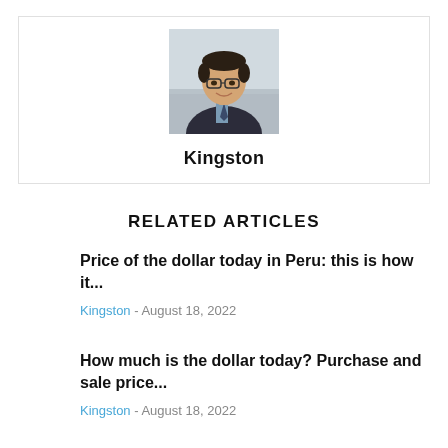[Figure (photo): Profile photo of a man in a suit and tie with glasses, smiling]
Kingston
RELATED ARTICLES
Price of the dollar today in Peru: this is how it...
Kingston - August 18, 2022
How much is the dollar today? Purchase and sale price...
Kingston - August 18, 2022